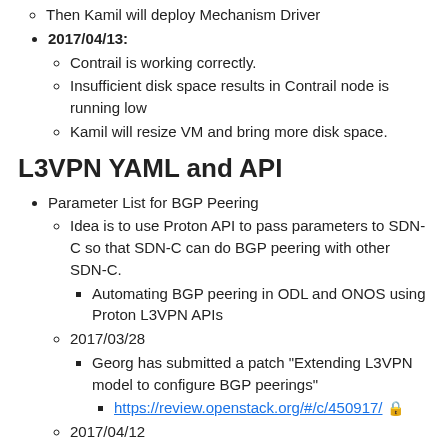Then Kamil will deploy Mechanism Driver
2017/04/13:
Contrail is working correctly.
Insufficient disk space results in Contrail node is running low
Kamil will resize VM and bring more disk space.
L3VPN YAML and API
Parameter List for BGP Peering
Idea is to use Proton API to pass parameters to SDN-C so that SDN-C can do BGP peering with other SDN-C.
Automating BGP peering in ODL and ONOS using Proton L3VPN APIs
2017/03/28
Georg has submitted a patch "Extending L3VPN model to configure BGP peerings"
https://review.openstack.org/#/c/450917/
2017/04/12
Georg submitted a new patch set (#2) based on comments. Then patch was approved merged